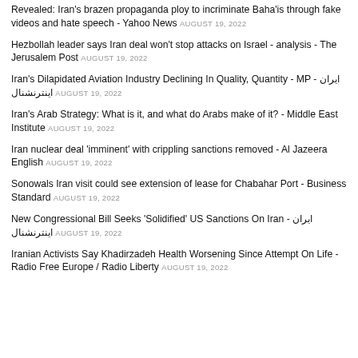Revealed: Iran's brazen propaganda ploy to incriminate Baha'is through fake videos and hate speech - Yahoo News AUGUST 19, 2022
Hezbollah leader says Iran deal won't stop attacks on Israel - analysis - The Jerusalem Post AUGUST 19, 2022
Iran's Dilapidated Aviation Industry Declining In Quality, Quantity - MP - ایران اینترنشنال AUGUST 19, 2022
Iran's Arab Strategy: What is it, and what do Arabs make of it? - Middle East Institute AUGUST 19, 2022
Iran nuclear deal 'imminent' with crippling sanctions removed - Al Jazeera English AUGUST 19, 2022
Sonowals Iran visit could see extension of lease for Chabahar Port - Business Standard AUGUST 19, 2022
New Congressional Bill Seeks 'Solidified' US Sanctions On Iran - ایران اینترنشنال AUGUST 19, 2022
Iranian Activists Say Khadirzadeh Health Worsening Since Attempt On Life - Radio Free Europe / Radio Liberty AUGUST 19, 2022